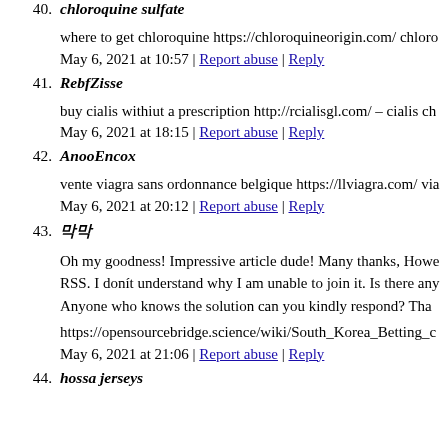40. chloroquine sulfate
where to get chloroquine https://chloroquineorigin.com/ chloro
May 6, 2021 at 10:57 | Report abuse | Reply
41. RebfZisse
buy cialis withiut a prescription http://rcialisgl.com/ – cialis ch
May 6, 2021 at 18:15 | Report abuse | Reply
42. AnooEncox
vente viagra sans ordonnance belgique https://llviagra.com/ via
May 6, 2021 at 20:12 | Report abuse | Reply
43. 막막
Oh my goodness! Impressive article dude! Many thanks, Howe RSS. I donít understand why I am unable to join it. Is there any Anyone who knows the solution can you kindly respond? Tha
https://opensourcebridge.science/wiki/South_Korea_Betting_c
May 6, 2021 at 21:06 | Report abuse | Reply
44. hossa jerseys